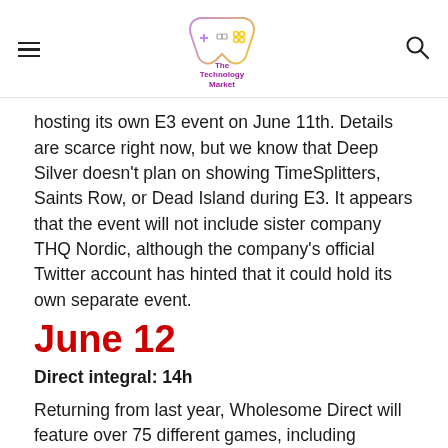The Technology Market [logo with game controller]
hosting its own E3 event on June 11th. Details are scarce right now, but we know that Deep Silver doesn't plan on showing TimeSplitters, Saints Row, or Dead Island during E3. It appears that the event will not include sister company THQ Nordic, although the company's official Twitter account has hinted that it could hold its own separate event.
June 12
Direct integral: 14h
Returning from last year, Wholesome Direct will feature over 75 different games, including Ooblets and Moonglow Bay. Some will be released during the show itself, and there will also be exclusive footage and interviews with